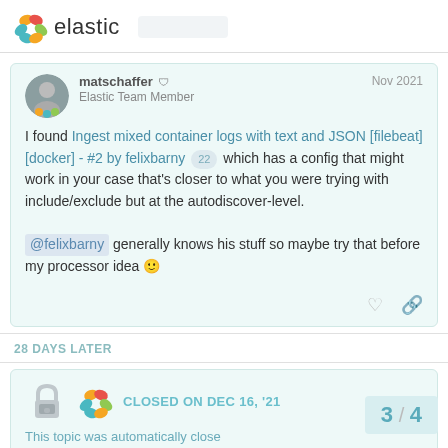elastic
matschaffer  Elastic Team Member  Nov 2021

I found Ingest mixed container logs with text and JSON [filebeat] [docker] - #2 by felixbarny 22 which has a config that might work in your case that's closer to what you were trying with include/exclude but at the autodiscover-level.

@felixbarny generally knows his stuff so maybe try that before my processor idea 🙂
28 DAYS LATER
CLOSED ON DEC 16, '21
This topic was automatically close